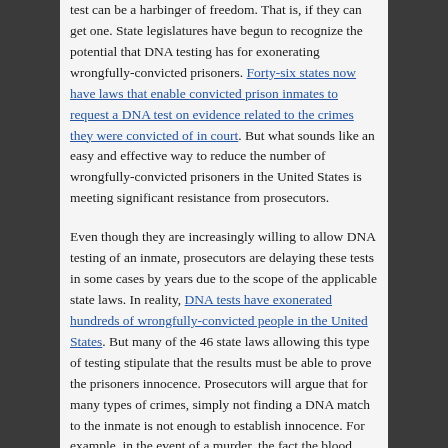test can be a harbinger of freedom.  That is, if they can get one.  State legislatures have begun to recognize the potential that DNA testing has for exonerating wrongfully-convicted prisoners.  Forty-six states now have laws that enable convicted prison inmates to request a DNA test on evidence related to the crimes they were convicted of in court.  But what sounds like an easy and effective way to reduce the number of wrongfully-convicted prisoners in the United States is meeting significant resistance from prosecutors.
Even though they are increasingly willing to allow DNA testing of an inmate, prosecutors are delaying these tests in some cases by years due to the scope of the applicable state laws.  In reality, DNA tests have exonerated hundreds of wrongfully-convicted people in the United States.  But many of the 46 state laws allowing this type of testing stipulate that the results must be able to prove the prisoners innocence.  Prosecutors will argue that for many types of crimes, simply not finding a DNA match to the inmate is not enough to establish innocence.  For example, in the event of a murder, the fact the blood